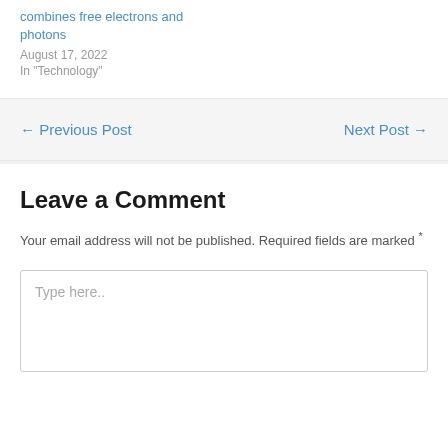combines free electrons and photons
August 17, 2022
In "Technology"
← Previous Post
Next Post →
Leave a Comment
Your email address will not be published. Required fields are marked *
Type here..